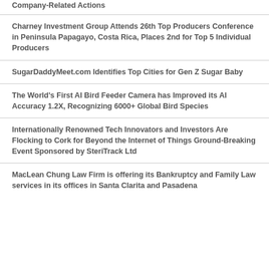Company-Related Actions
Charney Investment Group Attends 26th Top Producers Conference in Peninsula Papagayo, Costa Rica, Places 2nd for Top 5 Individual Producers
SugarDaddyMeet.com Identifies Top Cities for Gen Z Sugar Baby
The World's First AI Bird Feeder Camera has Improved its AI Accuracy 1.2X, Recognizing 6000+ Global Bird Species
Internationally Renowned Tech Innovators and Investors Are Flocking to Cork for Beyond the Internet of Things Ground-Breaking Event Sponsored by SteriTrack Ltd
MacLean Chung Law Firm is offering its Bankruptcy and Family Law services in its offices in Santa Clarita and Pasadena